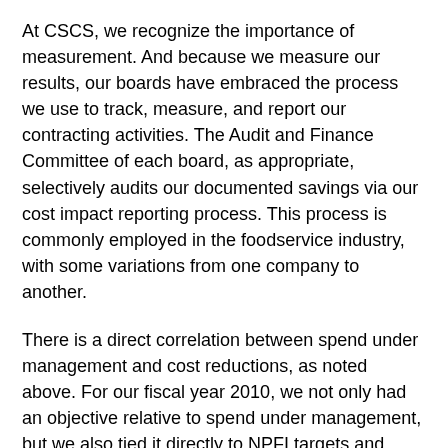At CSCS, we recognize the importance of measurement. And because we measure our results, our boards have embraced the process we use to track, measure, and report our contracting activities. The Audit and Finance Committee of each board, as appropriate, selectively audits our documented savings via our cost impact reporting process. This process is commonly employed in the foodservice industry, with some variations from one company to another.
There is a direct correlation between spend under management and cost reductions, as noted above. For our fiscal year 2010, we not only had an objective relative to spend under management, but we also tied it directly to NPFI targets and measured the progress of both brands monthly. The category managers and vice presidents knew exactly where they stood throughout the year, as did all three boards.